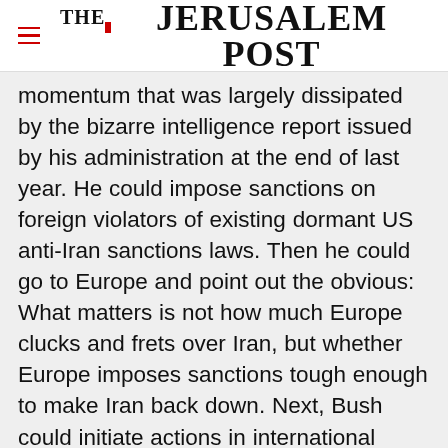THE JERUSALEM POST
momentum that was largely dissipated by the bizarre intelligence report issued by his administration at the end of last year. He could impose sanctions on foreign violators of existing dormant US anti-Iran sanctions laws. Then he could go to Europe and point out the obvious: What matters is not how much Europe clucks and frets over Iran, but whether Europe imposes sanctions tough enough to make Iran back down. Next, Bush could initiate actions in international
Advertisement